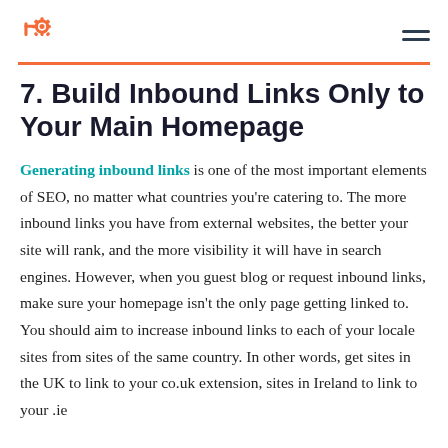HubSpot logo and navigation
7. Build Inbound Links Only to Your Main Homepage
Generating inbound links is one of the most important elements of SEO, no matter what countries you're catering to. The more inbound links you have from external websites, the better your site will rank, and the more visibility it will have in search engines. However, when you guest blog or request inbound links, make sure your homepage isn't the only page getting linked to. You should aim to increase inbound links to each of your locale sites from sites of the same country. In other words, get sites in the UK to link to your co.uk extension, sites in Ireland to link to your .ie